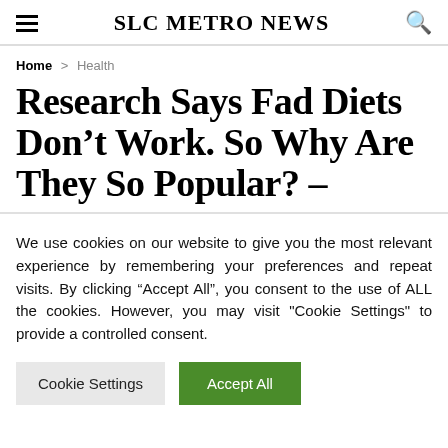SLC METRO NEWS
Home > Health
Research Says Fad Diets Don’t Work. So Why Are They So Popular? –
We use cookies on our website to give you the most relevant experience by remembering your preferences and repeat visits. By clicking “Accept All”, you consent to the use of ALL the cookies. However, you may visit "Cookie Settings" to provide a controlled consent.
Cookie Settings | Accept All